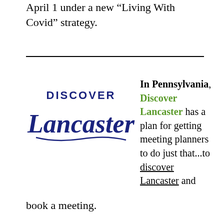April 1 under a new “Living With Covid” strategy.
[Figure (logo): Discover Lancaster logo — 'DISCOVER' in dark blue uppercase sans-serif text above 'Lancaster' in large dark blue cursive/script lettering with decorative swash]
In Pennsylvania, Discover Lancaster has a plan for getting meeting planners to do just that...to discover Lancaster and book a meeting.